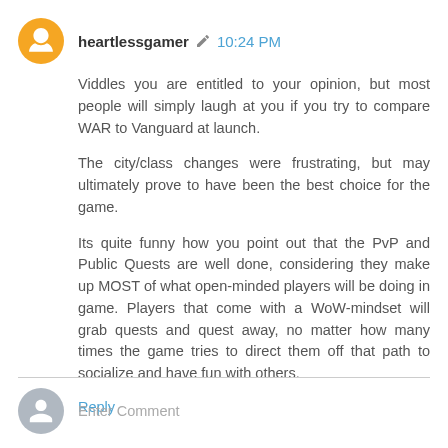heartlessgamer  10:24 PM
Viddles you are entitled to your opinion, but most people will simply laugh at you if you try to compare WAR to Vanguard at launch.

The city/class changes were frustrating, but may ultimately prove to have been the best choice for the game.

Its quite funny how you point out that the PvP and Public Quests are well done, considering they make up MOST of what open-minded players will be doing in game. Players that come with a WoW-mindset will grab quests and quest away, no matter how many times the game tries to direct them off that path to socialize and have fun with others.
Reply
Enter Comment